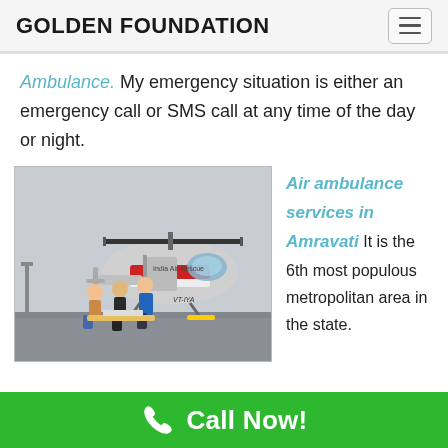GOLDEN FOUNDATION
Ambulance. My emergency situation is either an emergency call or SMS call at any time of the day or night.
[Figure (photo): Helicopter air ambulance on tarmac with three people loading a stretcher, labeled 'India Air Rescue']
Air ambulance services in Amravati It is the 6th most populous metropolitan area in the state.
Call Now!